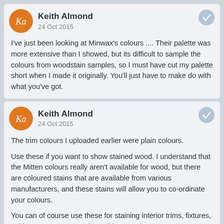Keith Almond
24 Oct 2015
I've just been looking at Minwax's colours .... Their palette was more extensive than I showed, but its difficult to sample the colours from woodstain samples, so I must have cut my palette short when I made it originally. You'll just have to make do with what you've got.
Keith Almond
24 Oct 2015
The trim colours I uploaded earlier were plain colours.

Use these if you want to show stained wood. I understand that the Mitten colours really aren't available for wood, but there are coloured stains that are available from various manufacturers, and these stains will allow you to co-ordinate your colours.

You can of course use these for staining interior trims, fixtures, cabinets etc. Pretty much anything wooden.

Again, as stated above, Minwax colour stains are limited.

Wood Trim - 1 of 3